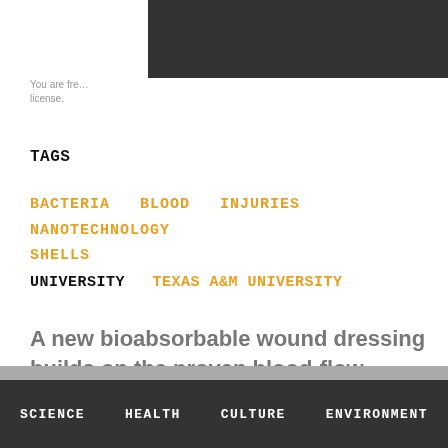[Figure (other): Dark header image block in upper right]
You are fre... license.
TAGS
BACTERIA   BLOOD   INJURIES   NANOTECHNOLOGY   SHELLS
UNIVERSITY   TEXAS A&M UNIVERSITY
A new bioabsorbable wound dressing builds on the proven blood-flow-stanching properties of chitosan.
SCIENCE   HEALTH   CULTURE   ENVIRONMENT